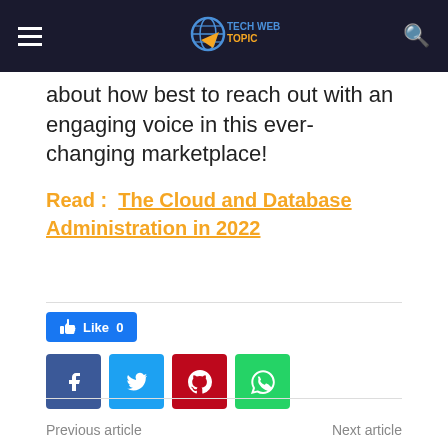TechWebTopic
about how best to reach out with an engaging voice in this ever-changing marketplace!
Read :   The Cloud and Database Administration in 2022
[Figure (infographic): Social sharing buttons: Like 0 button, Facebook, Twitter, Pinterest, WhatsApp icons]
Previous article    Next article